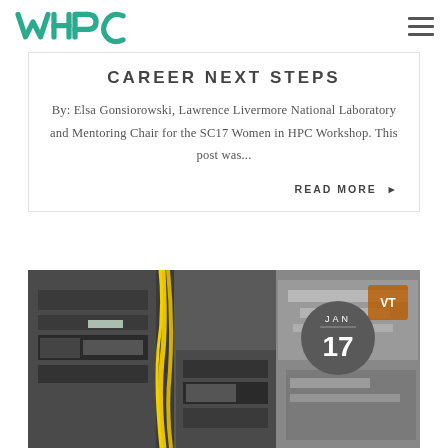WHPC
CAREER NEXT STEPS
By: Elsa Gonsiorowski, Lawrence Livermore National Laboratory and Mentoring Chair for the SC17 Women in HPC Workshop. This post was...
READ MORE ▶
[Figure (photo): Server rack with yellow cables and Virginia Tech branding visible in background, with a circular date badge showing JAN 17]
JAN 17